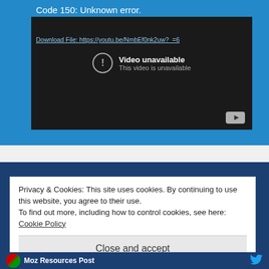Code 150: Unknown error.
Download File: https://youtu.be/NmbEf0nk2uw?_=6
[Figure (screenshot): YouTube video player showing 'Video unavailable' error with exclamation icon and YouTube logo button]
Privacy & Cookies: This site uses cookies. By continuing to use this website, you agree to their use.
To find out more, including how to control cookies, see here:
Cookie Policy
Close and accept
Moz Resources Post